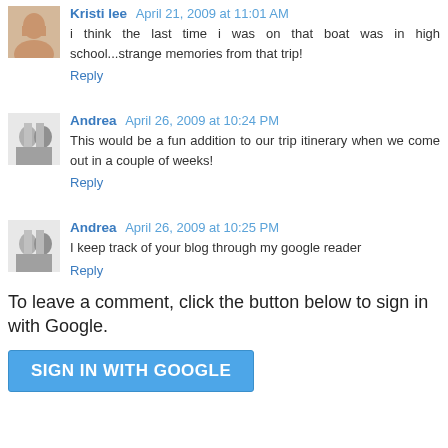Kristi lee April 21, 2009 at 11:01 AM
i think the last time i was on that boat was in high school...strange memories from that trip!
Reply
Andrea April 26, 2009 at 10:24 PM
This would be a fun addition to our trip itinerary when we come out in a couple of weeks!
Reply
Andrea April 26, 2009 at 10:25 PM
I keep track of your blog through my google reader
Reply
To leave a comment, click the button below to sign in with Google.
SIGN IN WITH GOOGLE